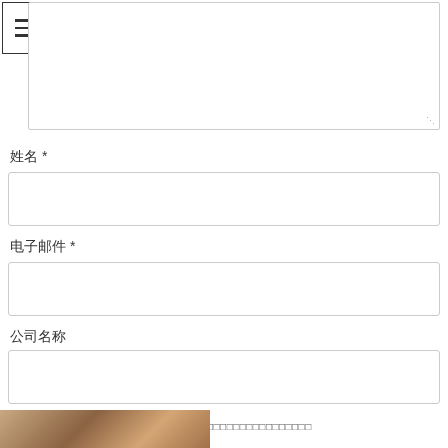[Figure (screenshot): Hamburger menu icon button with three horizontal lines inside a bordered square]
[Figure (screenshot): Large text area input box, partially visible at top]
姓名 *
[Figure (screenshot): Text input field for 姓名 (Name)]
电子邮件 *
[Figure (screenshot): Text input field for 电子邮件 (Email)]
公司名称
[Figure (screenshot): Text input field for 公司名称 (Company name)]
□ □□□□□□□□□□□□□□□□□□□□□□□□□□□□□□□□□□□□□□□□□
[Figure (screenshot): Orange submit button with Chinese text]
[Figure (photo): Partial bottom image showing wooden/interior scene]